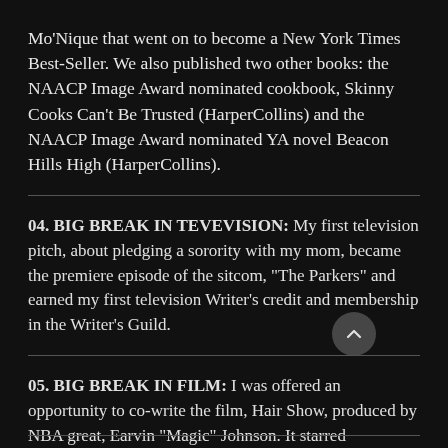Mo'Nique that went on to become a New York Times Best-Seller. We also published two other books: the NAACP Image Award nominated cookbook, Skinny Cooks Can't Be Trusted (HarperCollins) and the NAACP Image Award nominated YA novel Beacon Hills High (HarperCollins).
04. BIG BREAK IN TEVEVISION: My first television pitch, about pledging a sorority with my mom, became the premiere episode of the sitcom, "The Parkers" and earned my first television Writer's credit and membership in the Writer's Guild.
05. BIG BREAK IN FILM: I was offered an opportunity to co-write the film, Hair Show, produced by NBA great, Earvin "Magic" Johnson. It starred Mo'Ninque, Taraji P. Henson, Gina Torres, and Kellita Smith.